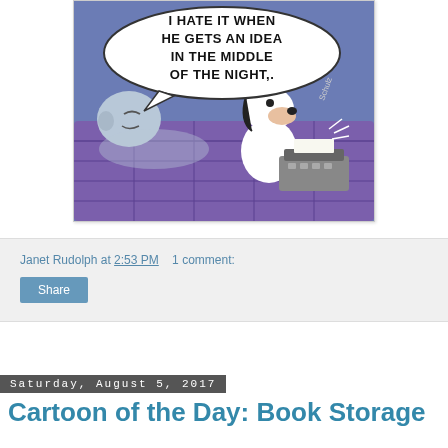[Figure (illustration): Peanuts comic strip: Charlie Brown lying in bed at night, Snoopy sitting at a typewriter on the bed. Speech bubble reads 'I HATE IT WHEN HE GETS AN IDEA IN THE MIDDLE OF THE NIGHT,.' Purple/blue nighttime color scheme.]
Janet Rudolph at 2:53 PM   1 comment:
Share
Saturday, August 5, 2017
Cartoon of the Day: Book Storage